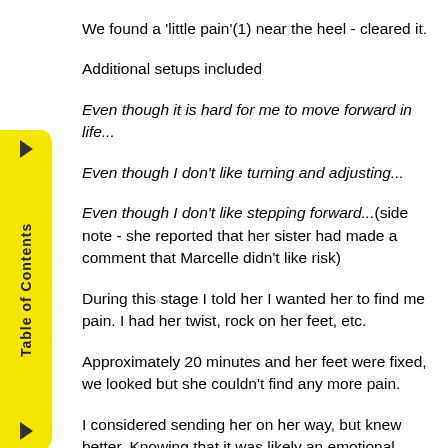We found a 'little pain'(1) near the heel - cleared it.
Additional setups included
Even though it is hard for me to move forward in life...
Even though I don't like turning and adjusting...
Even though I don't like stepping forward...(side note - she reported that her sister had made a comment that Marcelle didn't like risk)
During this stage I told her I wanted her to find me pain. I had her twist, rock on her feet, etc.
Approximately 20 minutes and her feet were fixed, we looked but she couldn't find any more pain.
I considered sending her on her way, but knew better. Knowing that it was likely an emotional issue, that created this situation, I inquired a little bit. Marcelle is